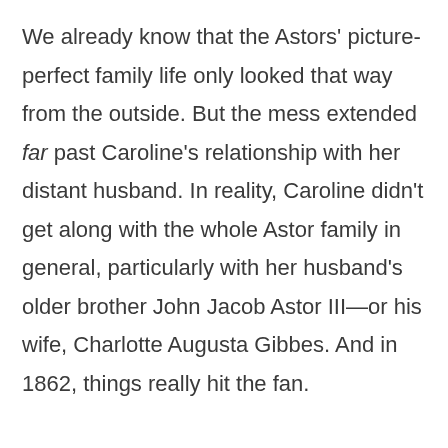We already know that the Astors' picture-perfect family life only looked that way from the outside. But the mess extended far past Caroline's relationship with her distant husband. In reality, Caroline didn't get along with the whole Astor family in general, particularly with her husband's older brother John Jacob Astor III—or his wife, Charlotte Augusta Gibbes. And in 1862, things really hit the fan.